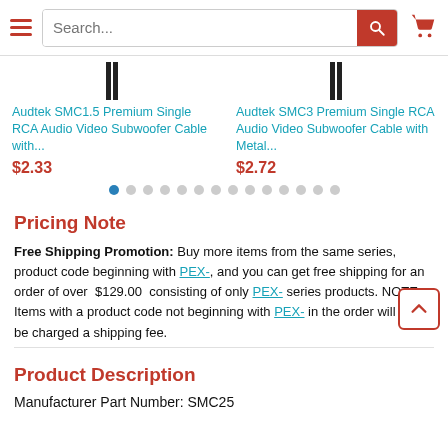Search bar with hamburger menu and cart icon
Audtek SMC1.5 Premium Single RCA Audio Video Subwoofer Cable with... $2.33
Audtek SMC3 Premium Single RCA Audio Video Subwoofer Cable with Metal... $2.72
Pricing Note
Free Shipping Promotion: Buy more items from the same series, product code beginning with PEX-, and you can get free shipping for an order of over $129.00 consisting of only PEX- series products. NOTE: Items with a product code not beginning with PEX- in the order will still be charged a shipping fee.
Product Description
Manufacturer Part Number: SMC25